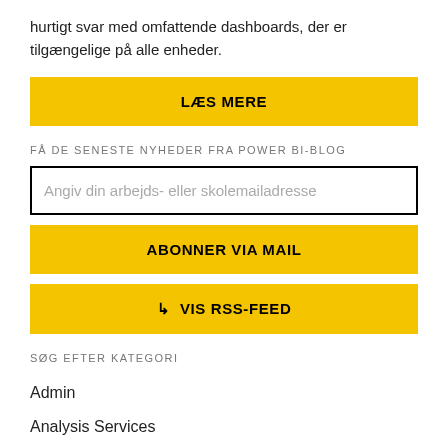hurtigt svar med omfattende dashboards, der er tilgængelige på alle enheder.
LÆS MERE
FÅ DE SENESTE NYHEDER FRA POWER BI-BLOG
Angiv din arbejds- eller skolemailadresse
ABONNER VIA MAIL
⊃ VIS RSS-FEED
SØG EFTER KATEGORI
Admin
Analysis Services